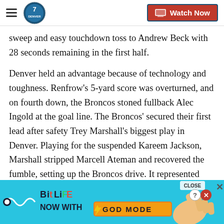Denver 7 | Watch Now
sweep and easy touchdown toss to Andrew Beck with 28 seconds remaining in the first half.
Denver held an advantage because of technology and toughness. Renfrow's 5-yard score was overturned, and on fourth down, the Broncos stoned fullback Alec Ingold at the goal line. The Broncos' secured their first lead after safety Trey Marshall's biggest play in Denver. Playing for the suspended Kareem Jackson, Marshall stripped Marcell Ateman and recovered the fumble, setting up the Broncos drive. It represented Denver' 17th...
[Figure (screenshot): BitLife advertisement banner: 'NOW WITH GOD MODE' on a blue background with illustrated hand pointing]